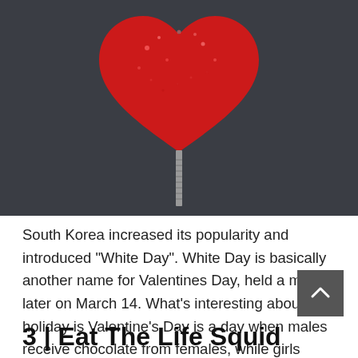[Figure (photo): A red heart-shaped candy pop on a metal stick against a dark gray background, partially cropped at the top]
South Korea increased its popularity and introduced "White Day". White Day is basically another name for Valentines Day, held a month later on March 14. What's interesting about this holiday is Valentine's Day is a day when males receive chocolate from females, while girls receive candy on White Day. Contrary to valentine culture in general. In Korean the word (White Day).
3 | Eat The Life Squid